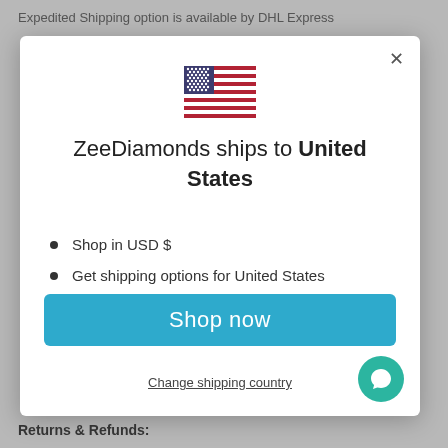Expedited Shipping option is available by DHL Express
[Figure (illustration): US flag icon]
ZeeDiamonds ships to United States
Shop in USD $
Get shipping options for United States
Shop now
Change shipping country
Returns & Refunds: